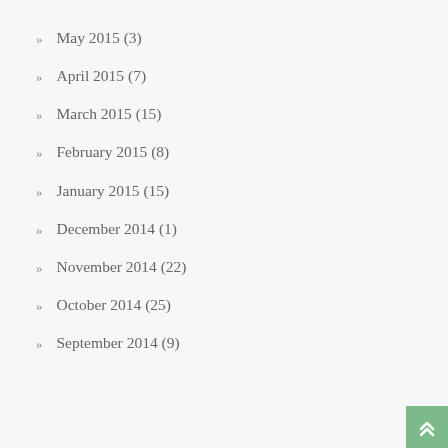May 2015 (3)
April 2015 (7)
March 2015 (15)
February 2015 (8)
January 2015 (15)
December 2014 (1)
November 2014 (22)
October 2014 (25)
September 2014 (9)